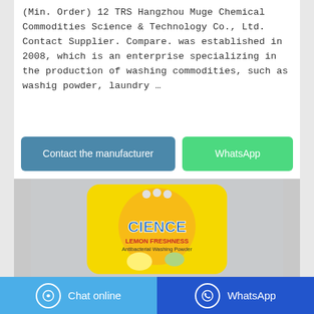(Min. Order) 12 TRS Hangzhou Muge Chemical Commodities Science & Technology Co., Ltd. Contact Supplier. Compare. was established in 2008, which is an enterprise specializing in the production of washing commodities, such as washig powder, laundry …
[Figure (other): Two buttons: 'Contact the manufacturer' (blue/teal) and 'WhatsApp' (green)]
[Figure (photo): Photo of a yellow bag of 'CIENCE Lemon Freshness Antibacterial Washing Powder' laundry detergent product]
Chat online   WhatsApp